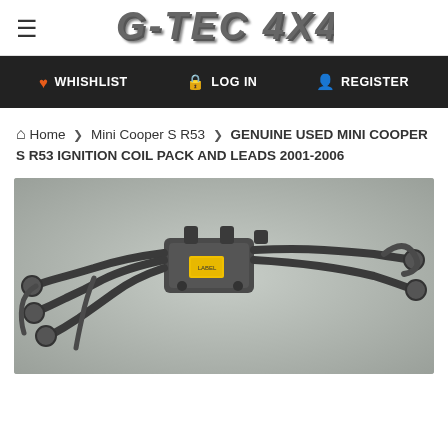G-TEC 4X4
WHISHLIST  LOG IN  REGISTER
Home > Mini Cooper S R53 > GENUINE USED MINI COOPER S R53 IGNITION COIL PACK AND LEADS 2001-2006
GENUINE USED MINI COOPER S R53 IGNITION COIL PACK AND LEADS 2001-2006
[Figure (photo): Photo of a genuine used Mini Cooper S R53 ignition coil pack and leads on a grey background. The coil pack is dark grey/black with a yellow label, connected to multiple spark plug leads.]